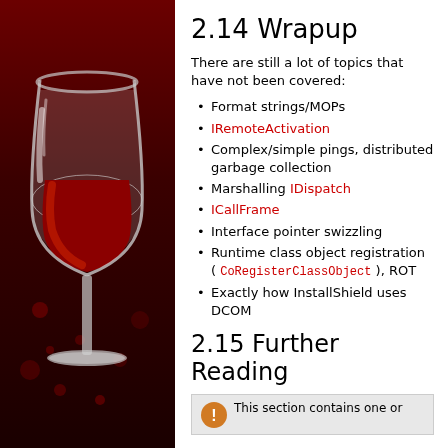[Figure (illustration): Wine glass logo (WINE project) on dark red background, left panel]
2.14 Wrapup
There are still a lot of topics that have not been covered:
Format strings/MOPs
IRemoteActivation
Complex/simple pings, distributed garbage collection
Marshalling IDispatch
ICallFrame
Interface pointer swizzling
Runtime class object registration ( CoRegisterClassObject ), ROT
Exactly how InstallShield uses DCOM
2.15 Further Reading
This section contains one or